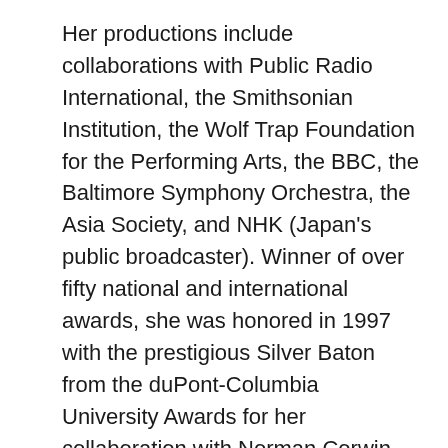Her productions include collaborations with Public Radio International, the Smithsonian Institution, the Wolf Trap Foundation for the Performing Arts, the BBC, the Baltimore Symphony Orchestra, the Asia Society, and NHK (Japan's public broadcaster). Winner of over fifty national and international awards, she was honored in 1997 with the prestigious Silver Baton from the duPont-Columbia University Awards for her collaboration with Norman Corwin. Most recently, Kirchner has become a contributing producer for the ABC News program “Nightline,” collaborating with correspondent Robert Krulwich.